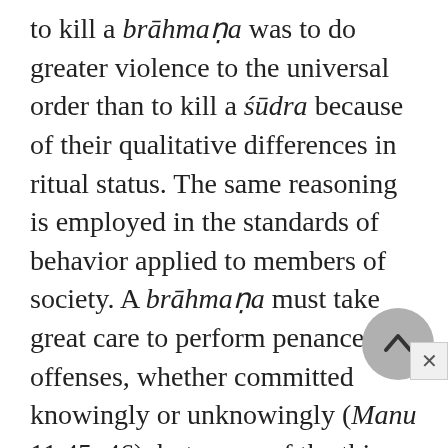to kill a brāhmaṇa was to do greater violence to the universal order than to kill a śūdra because of their qualitative differences in ritual status. The same reasoning is employed in the standards of behavior applied to members of society. A brāhmaṇa must take great care to perform penance for offenses, whether committed knowingly or unknowingly (Manu 11.45–46), but many of the things for which a brāhmaṇa would be outcasted are not even offenses for a śūdra